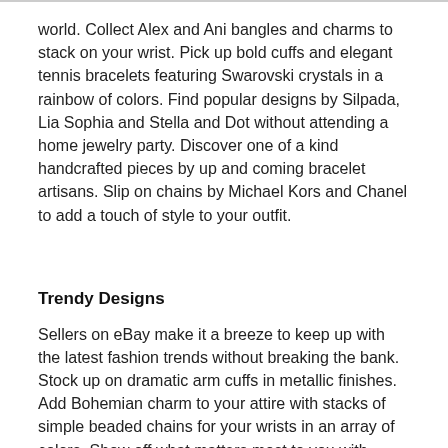world. Collect Alex and Ani bangles and charms to stack on your wrist. Pick up bold cuffs and elegant tennis bracelets featuring Swarovski crystals in a rainbow of colors. Find popular designs by Silpada, Lia Sophia and Stella and Dot without attending a home jewelry party. Discover one of a kind handcrafted pieces by up and coming bracelet artisans. Slip on chains by Michael Kors and Chanel to add a touch of style to your outfit.
Trendy Designs
Sellers on eBay make it a breeze to keep up with the latest fashion trends without breaking the bank. Stock up on dramatic arm cuffs in metallic finishes. Add Bohemian charm to your attire with stacks of simple beaded chains for your wrists in an array of colors. Show off what matters most to you with bangle chains featuring charms that represent the people and hobbies you love. Embrace your culture or keep special memories alive with leather wraps and woven